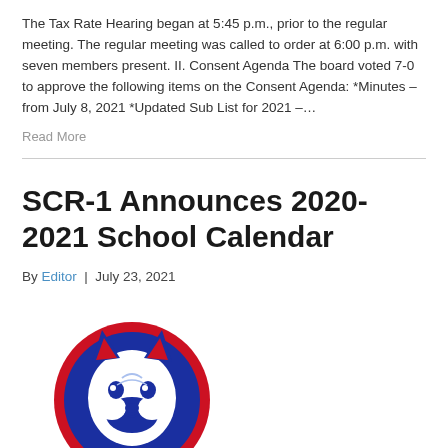The Tax Rate Hearing began at 5:45 p.m., prior to the regular meeting. The regular meeting was called to order at 6:00 p.m. with seven members present. II. Consent Agenda The board voted 7-0 to approve the following items on the Consent Agenda: *Minutes – from July 8, 2021 *Updated Sub List for 2021 –…
Read More
SCR-1 Announces 2020-2021 School Calendar
By Editor | July 23, 2021
[Figure (logo): SCR-1 school mascot logo — a wolf/husky head in white on a blue background, surrounded by a red circular border]